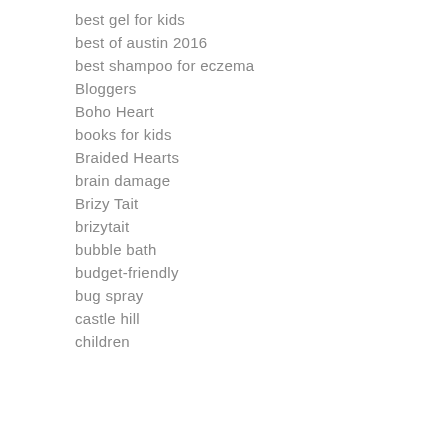best gel for kids
best of austin 2016
best shampoo for eczema
Bloggers
Boho Heart
books for kids
Braided Hearts
brain damage
Brizy Tait
brizytait
bubble bath
budget-friendly
bug spray
castle hill
children